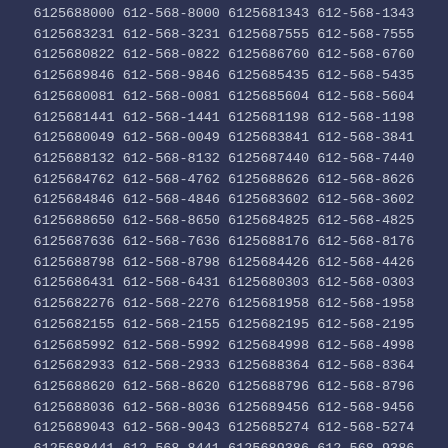6125688000 612-568-8000 6125681343 612-568-1343 6125683231 612-568-3231 6125687555 612-568-7555 6125680822 612-568-0822 6125686760 612-568-6760 6125689846 612-568-9846 6125685435 612-568-5435 6125680081 612-568-0081 6125685604 612-568-5604 6125681441 612-568-1441 6125681198 612-568-1198 6125680049 612-568-0049 6125683841 612-568-3841 6125688132 612-568-8132 6125687440 612-568-7440 6125684762 612-568-4762 6125688626 612-568-8626 6125684846 612-568-4846 6125683602 612-568-3602 6125688650 612-568-8650 6125684825 612-568-4825 6125687636 612-568-7636 6125688176 612-568-8176 6125688798 612-568-8798 6125684426 612-568-4426 6125686431 612-568-6431 6125680303 612-568-0303 6125682276 612-568-2276 6125681958 612-568-1958 6125682155 612-568-2155 6125682195 612-568-2195 6125685992 612-568-5992 6125684998 612-568-4998 6125682933 612-568-2933 6125688364 612-568-8364 6125688620 612-568-8620 6125688796 612-568-8796 6125688036 612-568-8036 6125689456 612-568-9456 6125689043 612-568-9043 6125685274 612-568-5274 6125688441 612-568-8441 6125689386 612-568-9386 6125680490 612-568-0490 6125689458 612-568-9458 6125689743 612-568-9743 6125687281 612-568-7281 6125684347 612-568-4347 6125681386 612-568-1386 6125688868 612-568-8868 6125689473 612-568-9473 6125689036 612-568-9036 6125681591 612-568-1591 6125685735 612-568-5735 6125680059 612-568-0059 6125684513 612-568-4513 6125682143 612-568-2143